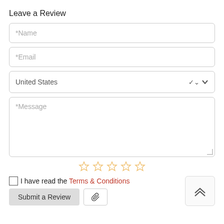Leave a Review
*Name
*Email
United States
*Message
[Figure (other): Five empty star rating icons in orange/gold outline]
I have read the Terms & Conditions
Submit a Review
[Figure (other): Paperclip/attach icon button]
[Figure (other): Scroll to top button with double chevron up arrow]